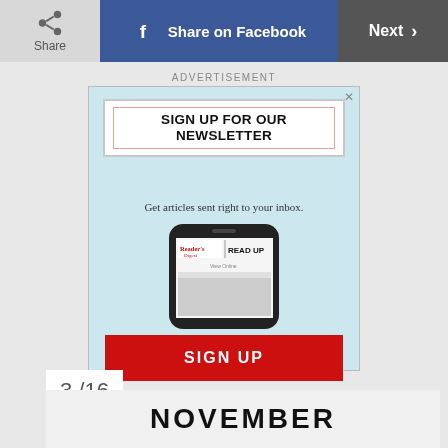[Figure (screenshot): Top navigation bar with Share button, Share on Facebook button (blue), and Next button (dark gray)]
ADVERTISEMENT
[Figure (infographic): Newsletter sign-up advertisement banner. Reads 'SIGN UP FOR OUR NEWSLETTER', 'Get articles sent right to your inbox.', shows a Reader's Digest READ UP phone, and a red SIGN UP button.]
3 /16
NOVEMBER